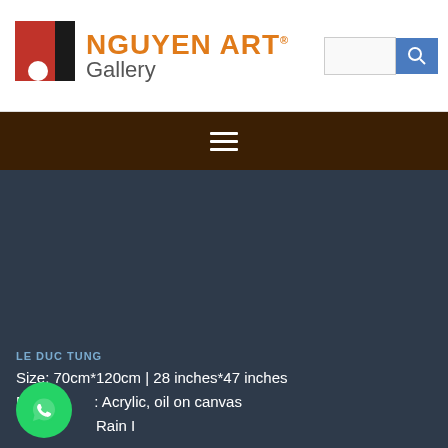[Figure (logo): Nguyen Art Gallery logo with red and black circular icon and orange text]
[Figure (illustration): Dark blue-gray background area representing an artwork display section]
LE DUC TUNG
Size: 70cm*120cm | 28 inches*47 inches
Material: Acrylic, oil on canvas
Rain I